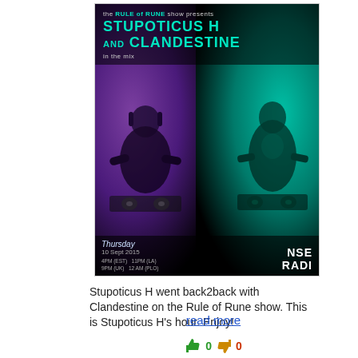[Figure (photo): Promotional flyer for the Rule of Rune show on NSB Radio featuring DJs Stupoticus H and Clandestine in the mix. Dark background with purple glow on the left DJ and teal/green glow on the right DJ, both at turntables. Thursday 10 Sept 2015. Time listings: 4PM (EST), 11PM (LA), 9PM (UK), 12AM (PLO). NSB Radio logo bottom right.]
Stupoticus H went back2back with Clandestine on the Rule of Rune show. This is Stupoticus H's hour. Enjoy!
read more
0  0